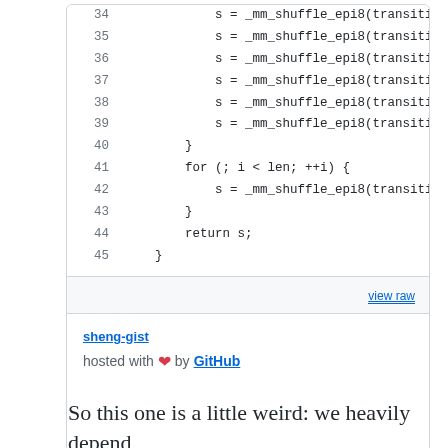[Figure (screenshot): Code snippet showing lines 34-45 of a C/SIMD function with _mm_shuffle_epi8 calls and a for loop, displayed in a GitHub Gist style code box with line numbers.]
view raw
sheng-gist
hosted with ❤ by GitHub
So this one is a little weird: we heavily depend